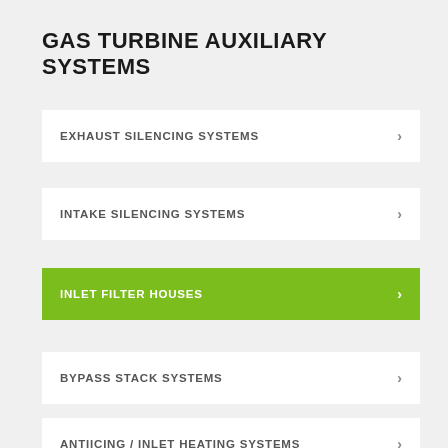GAS TURBINE AUXILIARY SYSTEMS
EXHAUST SILENCING SYSTEMS
INTAKE SILENCING SYSTEMS
INLET FILTER HOUSES
BYPASS STACK SYSTEMS
ANTIICING / INLET HEATING SYSTEMS